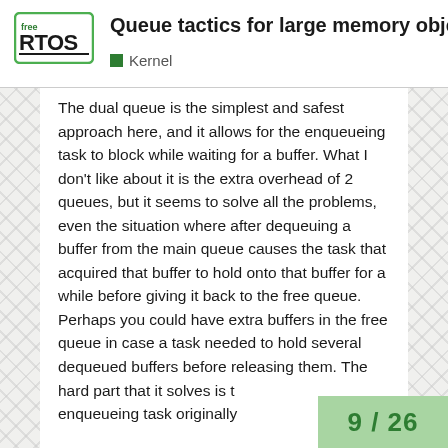Queue tactics for large memory objects | Kernel
The dual queue is the simplest and safest approach here, and it allows for the enqueueing task to block while waiting for a buffer. What I don't like about it is the extra overhead of 2 queues, but it seems to solve all the problems, even the situation where after dequeuing a buffer from the main queue causes the task that acquired that buffer to hold onto that buffer for a while before giving it back to the free queue. Perhaps you could have extra buffers in the free queue in case a task needed to hold several dequeued buffers before releasing them. The hard part that it solves is the enqueueing task originally
9 / 26